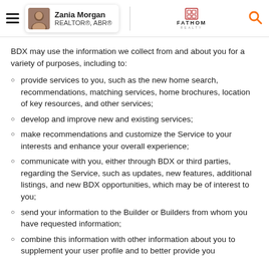Zania Morgan REALTOR®, ABR® | FATHOM REALTY
BDX may use the information we collect from and about you for a variety of purposes, including to:
provide services to you, such as the new home search, recommendations, matching services, home brochures, location of key resources, and other services;
develop and improve new and existing services;
make recommendations and customize the Service to your interests and enhance your overall experience;
communicate with you, either through BDX or third parties, regarding the Service, such as updates, new features, additional listings, and new BDX opportunities, which may be of interest to you;
send your information to the Builder or Builders from whom you have requested information;
combine this information with other information about you to supplement your user profile and to better provide you